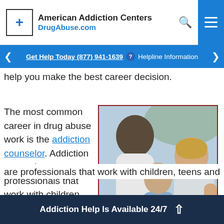American Addiction Centers DrugAbuse.com
Get Help Today (877) 941-1639 ? Helpline Information
help you make the best career decision.
The most common career in drug abuse work is the addiction counselor. Addiction counselors are professionals that work with children, teens and
[Figure (photo): Three people in a counseling session — a therapist (back to camera, wearing white) holding hands with a man and a woman who appear distressed or emotional.]
Addiction Help Is Available 24/7